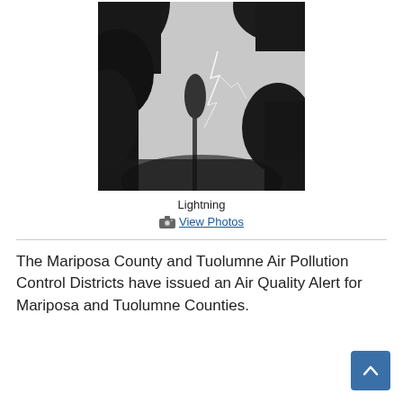[Figure (photo): Black and white photograph taken looking upward through tall conifer trees at an overcast sky, with a visible lightning bolt in the center of the image.]
Lightning
View Photos
The Mariposa County and Tuolumne Air Pollution Control Districts have issued an Air Quality Alert for Mariposa and Tuolumne Counties.